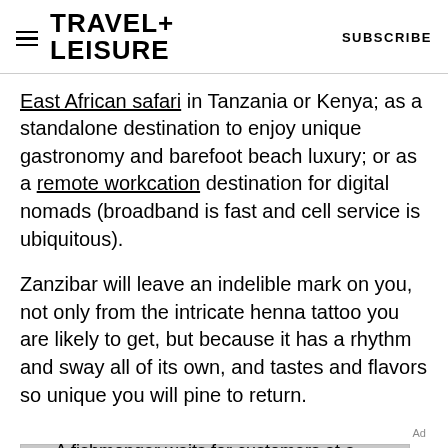TRAVEL+LEISURE   SUBSCRIBE
East African safari in Tanzania or Kenya; as a standalone destination to enjoy unique gastronomy and barefoot beach luxury; or as a remote workcation destination for digital nomads (broadband is fast and cell service is ubiquitous).
Zanzibar will leave an indelible mark on you, not only from the intricate henna tattoo you are likely to get, but because it has a rhythm and sway all of its own, and tastes and flavors so unique you will pine to return.
Ad
[Figure (photo): A fishmonger waits for customers at a market in Stone Town — partially visible image placeholder with gray background]